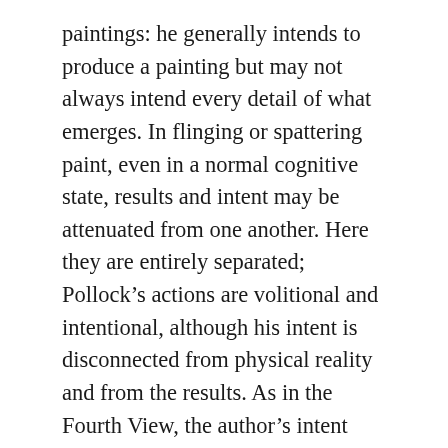paintings: he generally intends to produce a painting but may not always intend every detail of what emerges. In flinging or spattering paint, even in a normal cognitive state, results and intent may be attenuated from one another. Here they are entirely separated; Pollock’s actions are volitional and intentional, although his intent is disconnected from physical reality and from the results. As in the Fourth View, the author’s intent need not be to produce the particular fixation that emerges; it must be a general intent to fix expression.
The conundrum of action driven by a